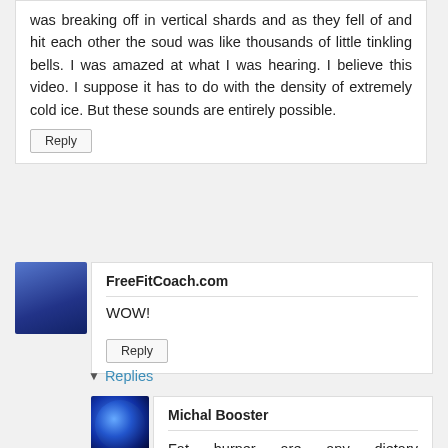was breaking off in vertical shards and as they fell of and hit each other the soud was like thousands of little tinkling bells. I was amazed at what I was hearing. I believe this video. I suppose it has to do with the density of extremely cold ice. But these sounds are entirely possible.
Reply
FreeFitCoach.com
WOW!
Reply
Replies
Michal Booster
Fat burner are any dietary supplements or related substances that claim to burn excess fat from your body.